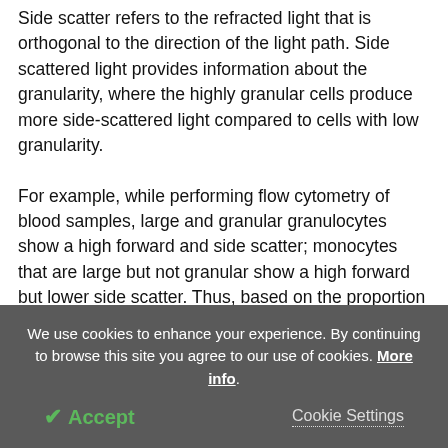Side scatter refers to the refracted light that is orthogonal to the direction of the light path. Side scattered light provides information about the granularity, where the highly granular cells produce more side-scattered light compared to cells with low granularity.

For example, while performing flow cytometry of blood samples, large and granular granulocytes show a high forward and side scatter; monocytes that are large but not granular show a high forward but lower side scatter. Thus, based on the proportion of light that is
We use cookies to enhance your experience. By continuing to browse this site you agree to our use of cookies. More info.
✔ Accept
Cookie Settings